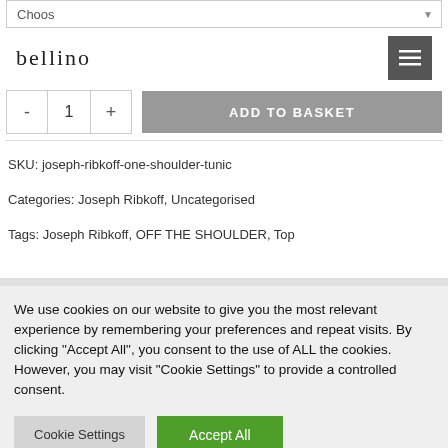[Figure (screenshot): Partial product page header with 'Choos' dropdown and Bellino logo navigation bar with hamburger menu button]
- 1 +
ADD TO BASKET
SKU: joseph-ribkoff-one-shoulder-tunic
Categories: Joseph Ribkoff, Uncategorised
Tags: Joseph Ribkoff, OFF THE SHOULDER, Top
We use cookies on our website to give you the most relevant experience by remembering your preferences and repeat visits. By clicking "Accept All", you consent to the use of ALL the cookies. However, you may visit "Cookie Settings" to provide a controlled consent.
Cookie Settings
Accept All